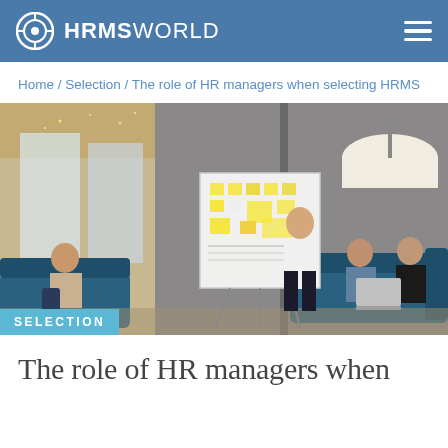HRMSWORLD
Home / Selection / The role of HR managers when selecting HRMS
[Figure (photo): Four men in a modern office space. One man stands presenting at a whiteboard covered in sticky notes. Three men are seated on blue sofas listening, with a laptop open. Brick walls and large windows visible. A label 'SELECTION' appears in the bottom-left corner.]
The role of HR managers when